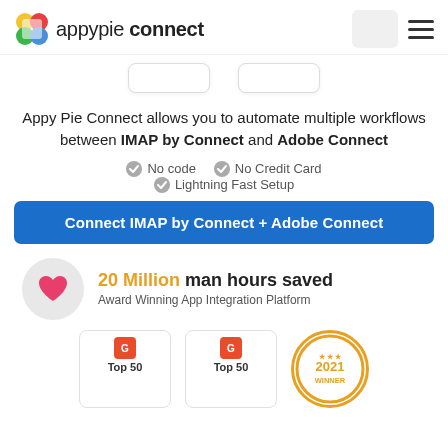appypie connect
[Figure (screenshot): Two rounded white card button placeholders side by side]
Appy Pie Connect allows you to automate multiple workflows between IMAP by Connect and Adobe Connect
No code
No Credit Card
Lightning Fast Setup
Connect IMAP by Connect + Adobe Connect
[Figure (infographic): Heart icon in gray circle with 20 Million man hours saved stat and Award Winning App Integration Platform text]
[Figure (infographic): Two G2 Top 50 award cards and a 2021 Winner circular badge]